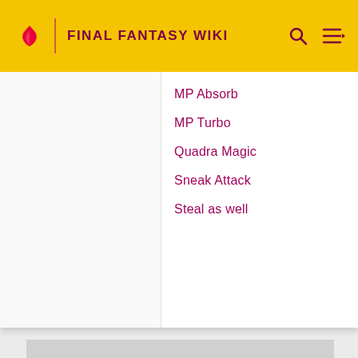FINAL FANTASY WIKI
MP Absorb
MP Turbo
Quadra Magic
Sneak Attack
Steal as well
[Figure (other): Gray placeholder image block]